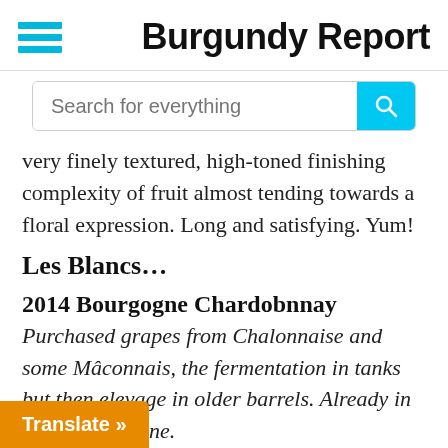Burgundy Report
[Figure (other): Search bar with cyan search button and magnifying glass icon]
very finely textured, high-toned finishing complexity of fruit almost tending towards a floral expression. Long and satisfying. Yum!
Les Blancs…
2014 Bourgogne Chardobnnay
Purchased grapes from Chalonnaise and some Mâconnais, the fermentation in tanks but then elevage in older barrels. Already in bottle since June. Wide, with a touch of aromatic minerality. Broad shouldered, mineral, faintly saline, a good width. A d flavour. Very pretty wine without
Translate »